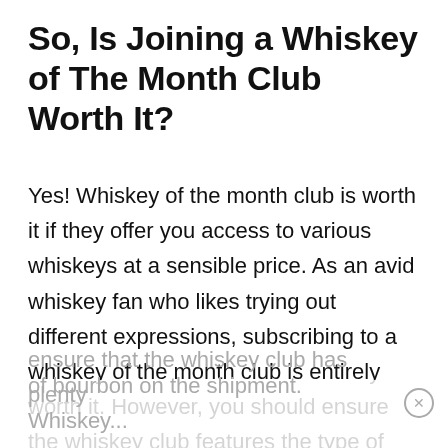So, Is Joining a Whiskey of The Month Club Worth It?
Yes! Whiskey of the month club is worth it if they offer you access to various whiskeys at a sensible price. As an avid whiskey fan who likes trying out different expressions, subscribing to a whiskey of the month club is entirely worth it. However, you should ensure the whiskey club features the type of whiskey you enjoy. For example, if you like bourbon,
ensure that the whiskey club has plenty of bourbon on the shipment. Whiskey...